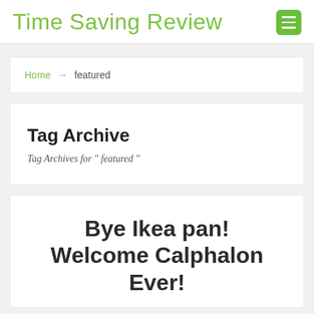Time Saving Review
Home → featured
Tag Archive
Tag Archives for " featured "
Bye Ikea pan! Welcome Calphalon Ever!